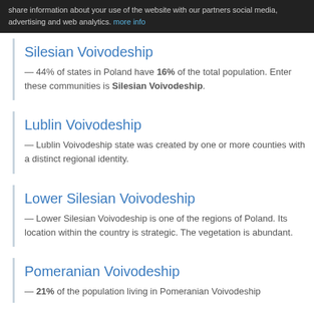share information about your use of the website with our partners social media, advertising and web analytics. more info
Silesian Voivodeship
— 44% of states in Poland have 16% of the total population. Enter these communities is Silesian Voivodeship.
Lublin Voivodeship
— Lublin Voivodeship state was created by one or more counties with a distinct regional identity.
Lower Silesian Voivodeship
— Lower Silesian Voivodeship is one of the regions of Poland. Its location within the country is strategic. The vegetation is abundant.
Pomeranian Voivodeship
— 21% of the population living in Pomeranian Voivodeship